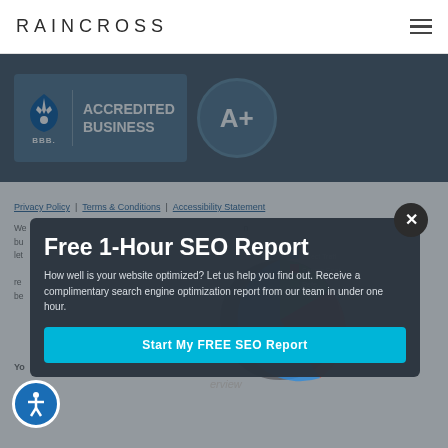RAINCROSS
[Figure (logo): BBB Accredited Business A+ badge with blue background and torch flame icon]
Privacy Policy | Terms & Conditions | Accessibility Statement
We... bu... let... re... be...
[Figure (screenshot): Popup modal overlay with title 'Free 1-Hour SEO Report', description text, and 'Start My FREE SEO Report' button. Background shows a pie/donut chart with labels Direct Traffic, Search Engine, Referral.]
Free 1-Hour SEO Report
How well is your website optimized? Let us help you find out. Receive a complimentary search engine optimization report from our team in under one hour.
Start My FREE SEO Report